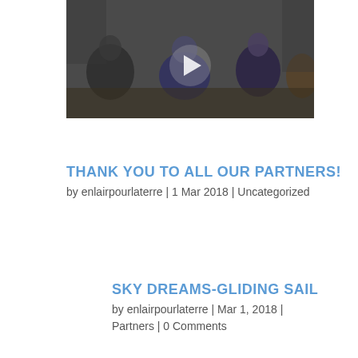[Figure (screenshot): YouTube video thumbnail showing 'Kortel Design - E...' with a play button overlay and people sitting in what appears to be a workshop or gym setting]
THANK YOU TO ALL OUR PARTNERS!
by enlairpourlaterre | 1 Mar 2018 | Uncategorized
SKY DREAMS-GLIDING SAIL
by enlairpourlaterre | Mar 1, 2018 | Partners | 0 Comments